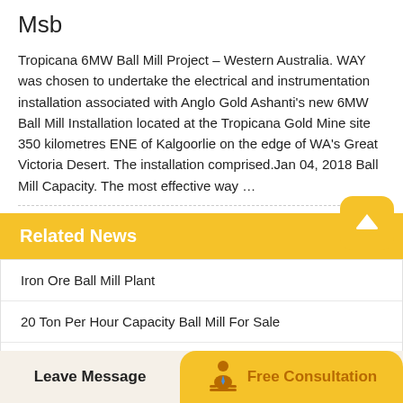Msb
Tropicana 6MW Ball Mill Project – Western Australia. WAY was chosen to undertake the electrical and instrumentation installation associated with Anglo Gold Ashanti's new 6MW Ball Mill Installation located at the Tropicana Gold Mine site 350 kilometres ENE of Kalgoorlie on the edge of WA's Great Victoria Desert. The installation comprised.Jan 04, 2018 Ball Mill Capacity. The most effective way …
Related News
Iron Ore Ball Mill Plant
20 Ton Per Hour Capacity Ball Mill For Sale
Direct Suppliersmall Mica Ball Wet Ball Mill
Leave Message
Free Consultation